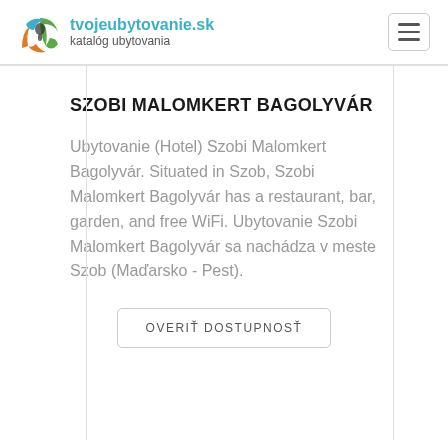tvojeubytovanie.sk katalóg ubytovania
SZOBI MALOMKERT BAGOLYVÁR
Ubytovanie (Hotel) Szobi Malomkert Bagolyvár. Situated in Szob, Szobi Malomkert Bagolyvár has a restaurant, bar, garden, and free WiFi. Ubytovanie Szobi Malomkert Bagolyvár sa nachádza v meste Szob (Maďarsko - Pest).
OVERIŤ DOSTUPNOSŤ